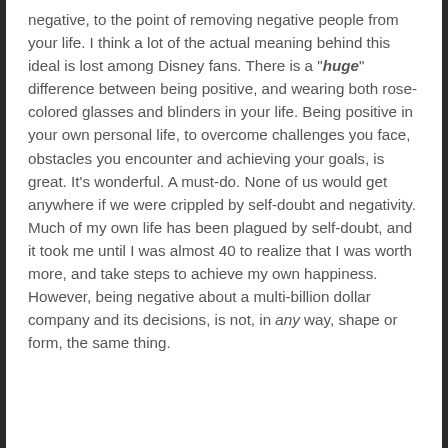negative, to the point of removing negative people from your life. I think a lot of the actual meaning behind this ideal is lost among Disney fans. There is a "*huge*" difference between being positive, and wearing both rose-colored glasses and blinders in your life. Being positive in your own personal life, to overcome challenges you face, obstacles you encounter and achieving your goals, is great. It's wonderful. A must-do. None of us would get anywhere if we were crippled by self-doubt and negativity. Much of my own life has been plagued by self-doubt, and it took me until I was almost 40 to realize that I was worth more, and take steps to achieve my own happiness. However, being negative about a multi-billion dollar company and its decisions, is not, in *any* way, shape or form, the same thing.